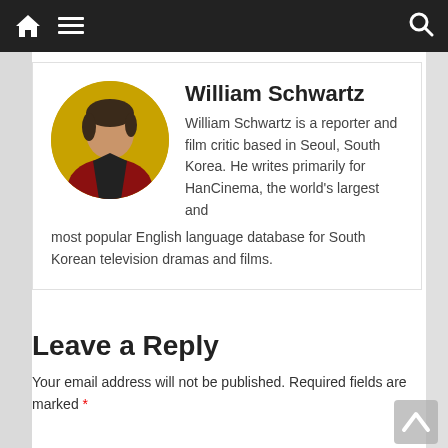Navigation bar with home, menu, and search icons
William Schwartz
William Schwartz is a reporter and film critic based in Seoul, South Korea. He writes primarily for HanCinema, the world's largest and most popular English language database for South Korean television dramas and films.
Leave a Reply
Your email address will not be published. Required fields are marked *